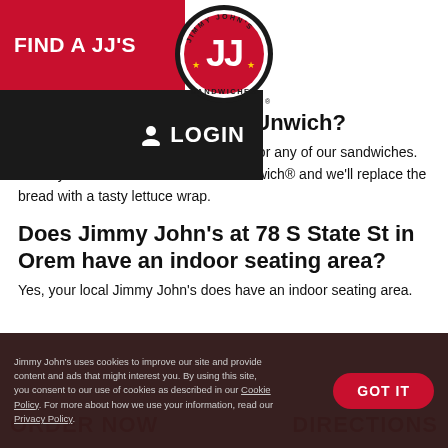FIND A JJ'S   [Jimmy John's logo]   LOGIN
What is Jimmy John's Unwich?
Our Unwich® is a carb-friendly option for any of our sandwiches. Order your favorite sandwich as an Unwich® and we'll replace the bread with a tasty lettuce wrap.
Does Jimmy John's at 78 S State St in Orem have an indoor seating area?
Yes, your local Jimmy John's does have an indoor seating area.
Jimmy John's uses cookies to improve our site and provide content and ads that might interest you. By using this site, you consent to our use of cookies as described in our Cookie Policy. For more about how we use your information, read our Privacy Policy.   GOT IT